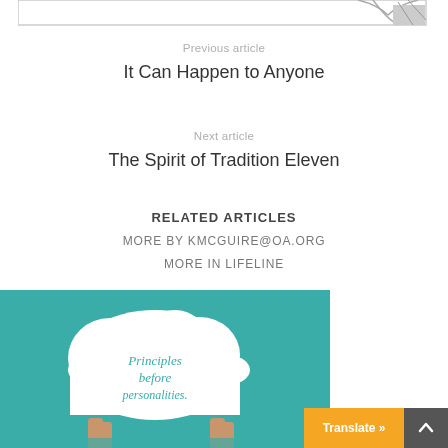[Figure (illustration): Top border area with decorative graphic element showing abstract shapes in gray]
Previous article
It Can Happen to Anyone
Next article
The Spirit of Tradition Eleven
RELATED ARTICLES
MORE BY KMCGUIRE@OA.ORG
MORE IN LIFELINE
[Figure (photo): Teal background with a person holding a white cloud-shaped sign that reads 'Principles before personalities.' in cursive green text. Hands visible from bottom of frame.]